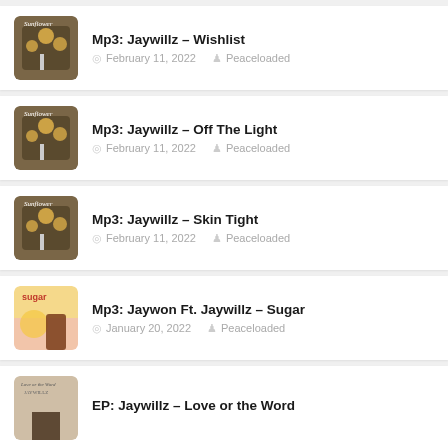Mp3: Jaywillz – Wishlist
February 11, 2022  Peaceloaded
Mp3: Jaywillz – Off The Light
February 11, 2022  Peaceloaded
Mp3: Jaywillz – Skin Tight
February 11, 2022  Peaceloaded
Mp3: Jaywon Ft. Jaywillz – Sugar
January 20, 2022  Peaceloaded
EP: Jaywillz – Love or the Word